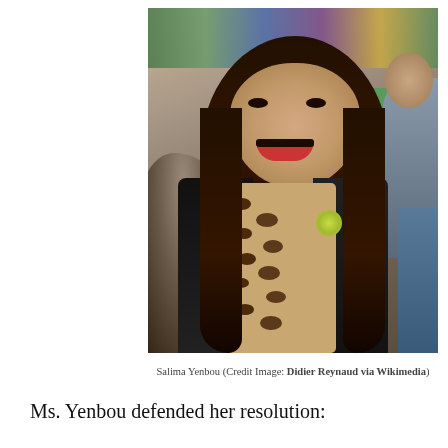[Figure (photo): Portrait photo of Salima Yenbou, a woman with long dark hair, smiling, wearing a black jacket over a leopard-print top with a green badge pin, at a public event with people and colorful banners in the background.]
Salima Yenbou (Credit Image: Didier Reynaud via Wikimedia)
Ms. Yenbou defended her resolution: